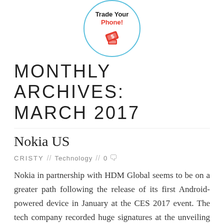[Figure (logo): Circular logo with blue border reading 'Trade Your Phone!' in black and red text with a phone/dollar icon below]
MONTHLY ARCHIVES: MARCH 2017
Nokia US
CRISTY // Technology // 0
Nokia in partnership with HDM Global seems to be on a greater path following the release of its first Android-powered device in January at the CES 2017 event. The tech company recorded huge signatures at the unveiling of the device as it gathered at least two hundred and fifty thousand registrations for the Nokia 6 [...]